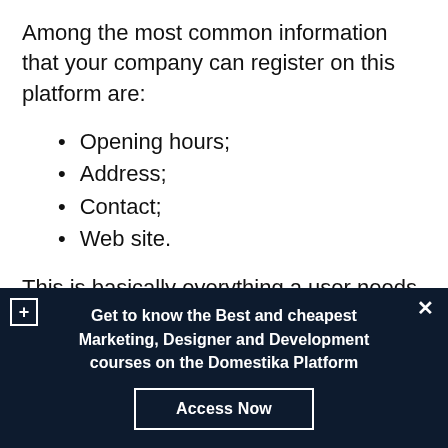Among the most common information that your company can register on this platform are:
Opening hours;
Address;
Contact;
Web site.
This is basically everything a user needs to contact your company and become a
Get to know the Best and cheapest Marketing, Designer and Development courses on the Domestika Platform
Access Now